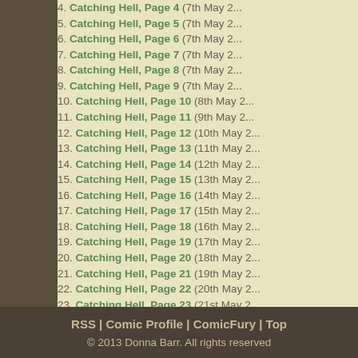4. Catching Hell, Page 4 (7th May 2...
5. Catching Hell, Page 5 (7th May 2...
6. Catching Hell, Page 6 (7th May 2...
7. Catching Hell, Page 7 (7th May 2...
8. Catching Hell, Page 8 (7th May 2...
9. Catching Hell, Page 9 (7th May 2...
10. Catching Hell, Page 10 (8th May 2...
11. Catching Hell, Page 11 (9th May 2...
12. Catching Hell, Page 12 (10th May 2...
13. Catching Hell, Page 13 (11th May 2...
14. Catching Hell, Page 14 (12th May 2...
15. Catching Hell, Page 15 (13th May 2...
16. Catching Hell, Page 16 (14th May 2...
17. Catching Hell, Page 17 (15th May 2...
18. Catching Hell, Page 18 (16th May 2...
19. Catching Hell, Page 19 (17th May 2...
20. Catching Hell, Page 20 (18th May 2...
21. Catching Hell, Page 21 (19th May 2...
22. Catching Hell, Page 22 (20th May 2...
23. Catching Hell, Page 23 (21st May 2...
24. Catching Hell, Page 24 (22nd May ...
RSS | Comic Profile | ComicFury | Top
© 2013 Donna Barr. All rights reserved